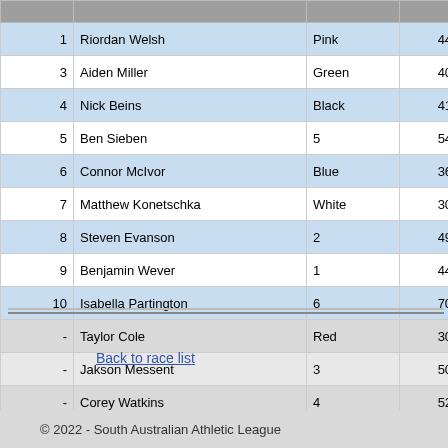|  | Name | Color/No | Distance |  |
| --- | --- | --- | --- | --- |
| 1 | Riordan Welsh | Pink | 44.00m |  |
| 3 | Aiden Miller | Green | 40.00m |  |
| 4 | Nick Beins | Black | 41.00m |  |
| 5 | Ben Sieben | 5 | 54.00m |  |
| 6 | Connor McIvor | Blue | 36.00m |  |
| 7 | Matthew Konetschka | White | 30.00m |  |
| 8 | Steven Evanson | 2 | 49.00m |  |
| 9 | Benjamin Wever | 1 | 44.00m |  |
| 10 | Isabella Partington | 6 | 70.00m |  |
| - | Taylor Cole | Red | 30.00m |  |
| - | Jakson Messent | 3 | 50.00m |  |
| - | Corey Watkins | 4 | 52.00m |  |
Back to race list
© 2022 - South Australian Athletic League